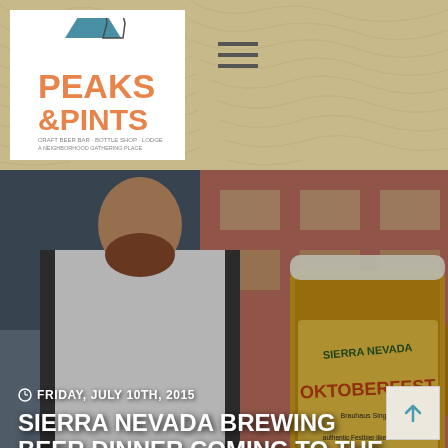[Figure (logo): Peaks & Pints logo with mountain graphic, orange text]
[Figure (photo): Man in white chef coat standing in front of Sierra Nevada Oktoberfest beer mug display and brick building]
FRIDAY, JULY 10TH, 2015
SIERRA NEVADA BREWING BEER DINNER COMING TO THE SWISS PUB
Ron Swarner